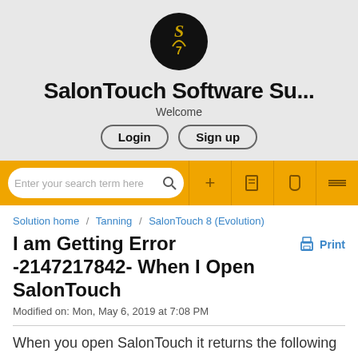[Figure (logo): SalonTouch Software Support logo: black circle with gold stylized figure/scissors icon]
SalonTouch Software Su...
Welcome
Login   Sign up
[Figure (screenshot): Search bar with 'Enter your search term here' placeholder and icons for add, document, phone, and menu on a gold/yellow background]
Solution home / Tanning / SalonTouch 8 (Evolution)
I am Getting Error -2147217842- When I Open SalonTouch
Modified on: Mon, May 6, 2019 at 7:08 PM
When you open SalonTouch it returns the following error messages:
[Figure (screenshot): Partial SQL Server Login dialog box with blue header and red X close button]